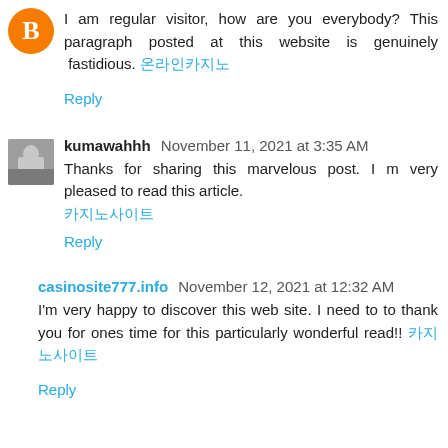I am regular visitor, how are you everybody? This paragraph posted at this website is genuinely fastidious. 온라인카지노
Reply
kumawahhh  November 11, 2021 at 3:35 AM
Thanks for sharing this marvelous post. I m very pleased to read this article. 카지노사이트
Reply
casinosite777.info  November 12, 2021 at 12:32 AM
I'm very happy to discover this web site. I need to to thank you for ones time for this particularly wonderful read!! 카지노사이트
Reply